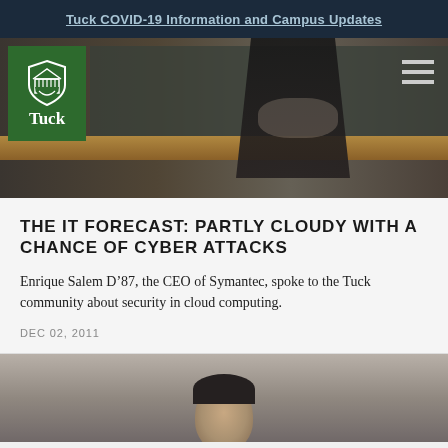Tuck COVID-19 Information and Campus Updates
[Figure (photo): Tuck School of Business logo on green background, and background photo of a person in a dark suit standing at a lectern in a classroom with a chalkboard.]
THE IT FORECAST: PARTLY CLOUDY WITH A CHANCE OF CYBER ATTACKS
Enrique Salem D’87, the CEO of Symantec, spoke to the Tuck community about security in cloud computing.
DEC 02, 2011
[Figure (photo): Partial photo showing the top of a person's head with dark hair, against a grey/neutral background. This is the beginning of another article or section below.]